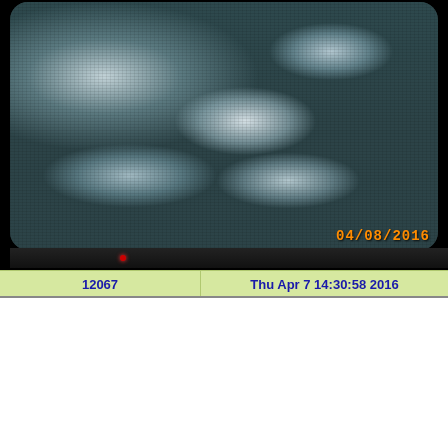[Figure (photo): A photograph of an old CRT television monitor displaying a grainy, noisy black-and-white image with several bright white glowing spots/reflections on a dark speckled background. A red standby LED is visible on the front panel. A timestamp '04/08/2016' appears in orange at the bottom right of the image.]
| 12067 | Thu Apr 7 14:30:58 2016 |
| --- | --- |
Quote:
Steve has finished installing the enclosure on the new endt relative to the endtable. We initially thought of using POX Eric then tried misaligning the ITM and using AS110 as a tr doing so, I measured the beam height at two points on the m